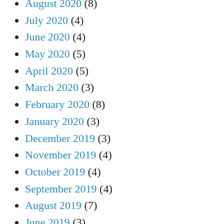August 2020 (8)
July 2020 (4)
June 2020 (4)
May 2020 (5)
April 2020 (5)
March 2020 (3)
February 2020 (8)
January 2020 (3)
December 2019 (3)
November 2019 (4)
October 2019 (4)
September 2019 (4)
August 2019 (7)
June 2019 (3)
May 2019 (4)
April 2019 (3)
March 2019 (5)